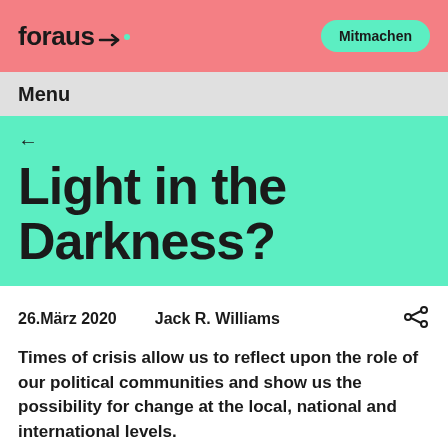foraus   Mitmachen
Menu
Light in the Darkness?
26.März 2020   Jack R. Williams
Times of crisis allow us to reflect upon the role of our political communities and show us the possibility for change at the local, national and international levels.